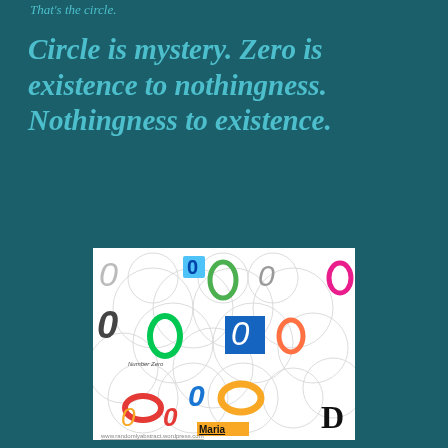That's the circle.
Circle is mystery. Zero is existence to nothingness. Nothingness to existence.
[Figure (illustration): Collage of the number zero rendered in many different styles, colors, and materials — rings, donuts, typographic zeros — overlaid on a background of overlapping circles. Includes text 'Number Zero' and 'Maria' and website 'www.randomlyabstract.wordpress.com'.]